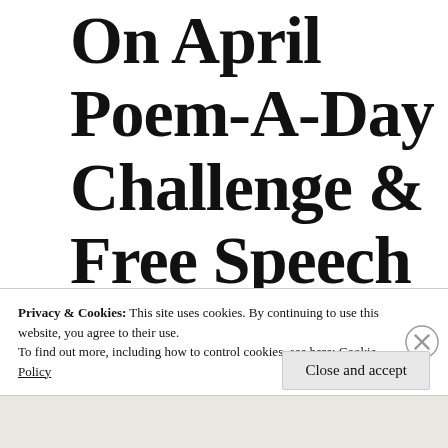On April Poem-A-Day Challenge & Free Speech for All,
Privacy & Cookies: This site uses cookies. By continuing to use this website, you agree to their use.
To find out more, including how to control cookies, see here: Cookie Policy
Close and accept